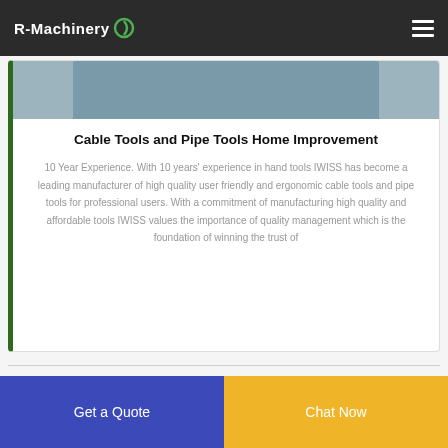R-Machinery
[Figure (photo): Partial view of a machine or tool product image at the top of the card]
Cable Tools and Pipe Tools Home Improvement
10 Year Experience. With 10 years' experience in hand tools IWISS has become a leading manufacturer of high quality user friendly and ergonomic cable tools and pipe tools for professional users. With a commitment of manufacturing high quality and affordable tools IWISS values the importance of quality management which is the foundation of winning the trust of
Get a Quote
Chat Now